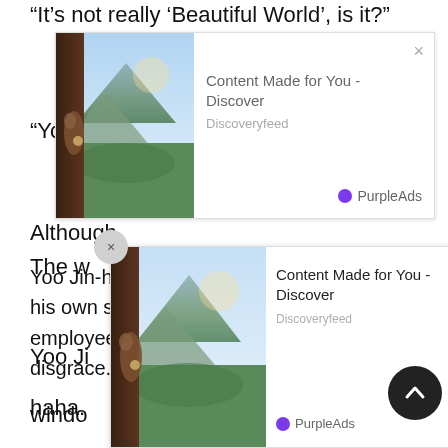“It’s not really ‘Beautiful World’, is it?”
[Figure (screenshot): Ad overlay showing mountain landscape with hand on door, 'Content Made for You - Discover', Discoveryfeed, PurpleAds branding]
“You
Although.
Yoo Jin-ho was just as happy even though his own sense of naming was denied by employees and subjected to all kinds of disgrace.
haha.
Yeah, if you can not name it, how about it?
The w
[Figure (screenshot): Second ad overlay showing mountain landscape with hand on door, 'Content Made for You - Discover', Discoveryfeed, PurpleAds branding]
Yoo Ji
windo